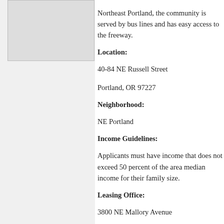[Figure (map): Map placeholder image showing property location in NE Portland]
Northeast Portland, the community is served by bus lines and has easy access to the freeway.
Location: 40-84 NE Russell Street Portland, OR 97227
Neighborhood: NE Portland
Income Guidelines: Applicants must have income that does not exceed 50 percent of the area median income for their family size.
Leasing Office: 3800 NE Mallory Avenue Portland, OR 97212 Managed by Home Forward
The waiting lists are currently closed. Learn more about when we open waiting lists.